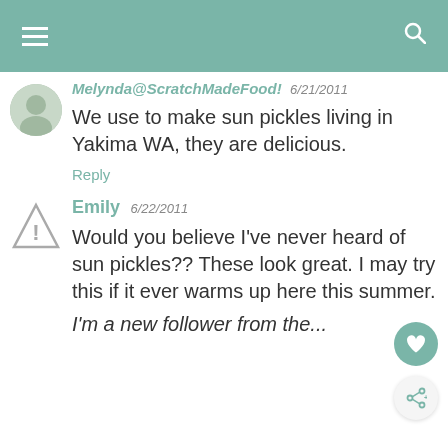Navigation bar with hamburger menu and search icon
Melynda@ScratchMadeFood! 6/21/2011
We use to make sun pickles living in Yakima WA, they are delicious.
Reply
Emily 6/22/2011
Would you believe I've never heard of sun pickles?? These look great. I may try this if it ever warms up here this summer.
I'm a new follower from the...